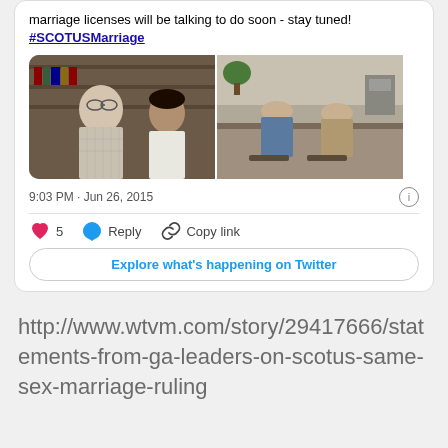marriage licenses will be talking to do soon - stay tuned! #SCOTUSMarriage
[Figure (photo): Two photos side by side: left shows two men standing in what appears to be an office with bookshelves; right shows people seated at a counter in an office setting.]
9:03 PM · Jun 26, 2015
5  Reply  Copy link
Explore what's happening on Twitter
http://www.wtvm.com/story/29417666/statements-from-ga-leaders-on-scotus-same-sex-marriage-ruling